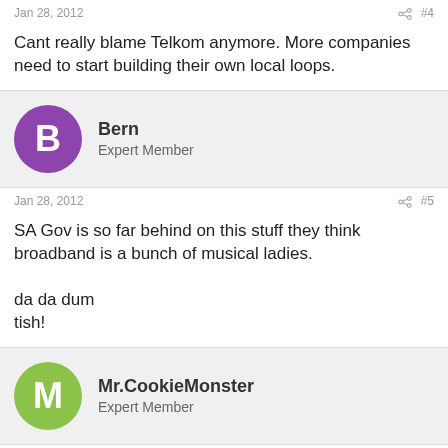Jan 28, 2012  #4
Cant really blame Telkom anymore. More companies need to start building their own local loops.
Bern
Expert Member
Jan 28, 2012  #5
SA Gov is so far behind on this stuff they think broadband is a bunch of musical ladies.

da da dum
tish!
Mr.CookieMonster
Expert Member
Jan 28, 2012  #6